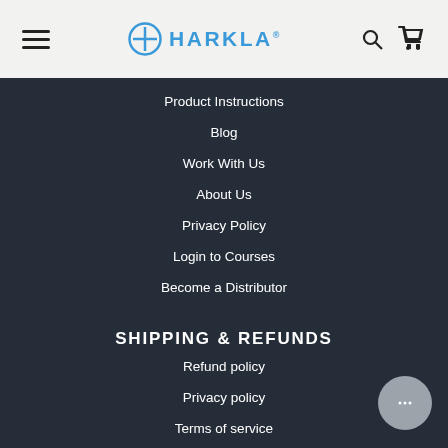HARKLA (logo with hamburger menu, search, and cart icons)
Product Instructions
Blog
Work With Us
About Us
Privacy Policy
Login to Courses
Become a Distributor
SHIPPING & REFUNDS
Refund policy
Privacy policy
Terms of service